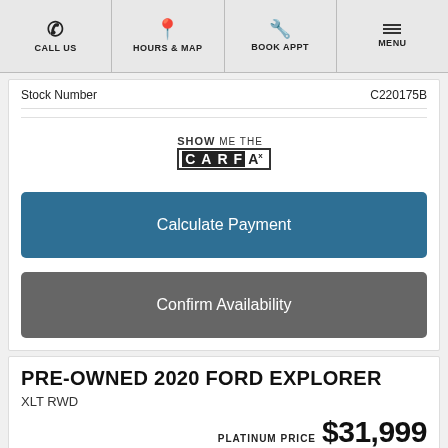CALL US | HOURS & MAP | BOOK APPT | MENU
Stock Number    C220175B
[Figure (logo): Show Me The CARFAX logo]
Calculate Payment
Confirm Availability
PRE-OWNED 2020 FORD EXPLORER
XLT RWD
PLATINUM PRICE $31,999